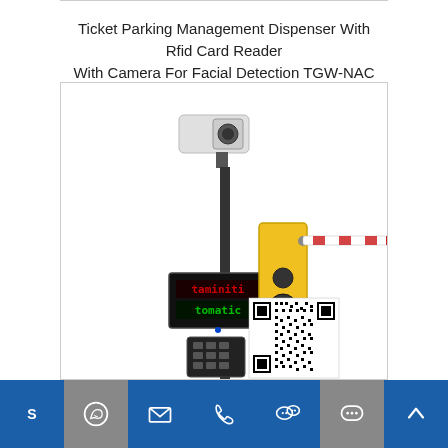Ticket Parking Management Dispenser With Rfid Card Reader With Camera For Facial Detection TGW-NAC
[Figure (photo): Product photo showing a ticket parking management dispenser system with RFID card reader, camera on a pole with LED display board, a yellow parking barrier gate with red-and-white boom arm extended, a numeric keypad unit on the pole, and a QR code in the foreground.]
Skype | WhatsApp | Email | Phone | WeChat | Chat | Up